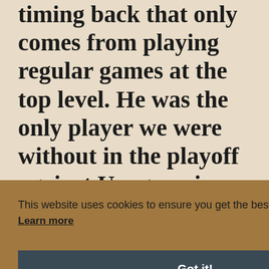timing back that only comes from playing regular games at the top level. He was the only player we were without in the playoff against Uruguay in November and we badly need him
This website uses cookies to ensure you get the best experience on our website. Learn more
Got it!
yers to